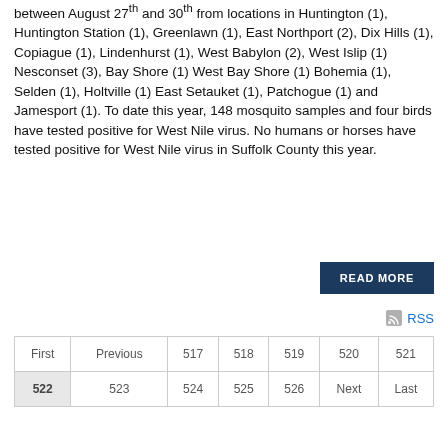between August 27th and 30th from locations in Huntington (1), Huntington Station (1), Greenlawn (1), East Northport (2), Dix Hills (1), Copiague (1), Lindenhurst (1), West Babylon (2), West Islip (1) Nesconset (3), Bay Shore (1) West Bay Shore (1) Bohemia (1), Selden (1), Holtville (1) East Setauket (1), Patchogue (1) and Jamesport (1). To date this year, 148 mosquito samples and four birds have tested positive for West Nile virus. No humans or horses have tested positive for West Nile virus in Suffolk County this year.
READ MORE
RSS
| First | Previous | 517 | 518 | 519 | 520 | 521 |
| 522 | 523 | 524 | 525 | 526 | Next | Last |